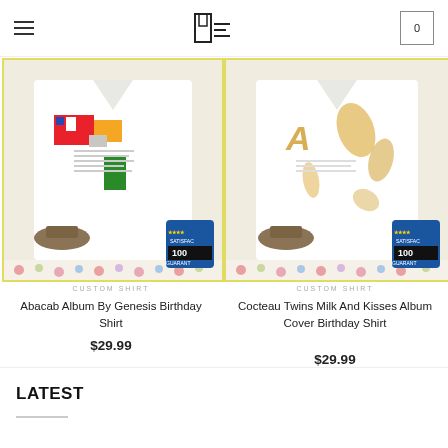blinkenzo.com — navigation header with logo and cart (0)
[Figure (photo): Product photo of Abacab Album By Genesis Birthday Shirt — white shirt with colorful abstract album cover art, satisfaction 100% guarantee badge, floral border]
CUSTOM SHIRT
Abacab Album By Genesis Birthday Shirt
$29.99
[Figure (photo): Product photo of Cocteau Twins Milk And Kisses Album Cover Birthday Shirt — white shirt with golden/yellow album cover art, satisfaction 100% guarantee badge, floral border]
CUSTOM SHIRT
Cocteau Twins Milk And Kisses Album Cover Birthday Shirt
$29.99
LATEST